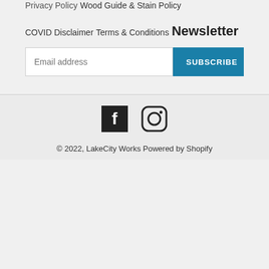Privacy Policy
Wood Guide & Stain Policy
COVID Disclaimer
Terms & Conditions
Newsletter
Email address / SUBSCRIBE form
© 2022, LakeCity Works Powered by Shopify